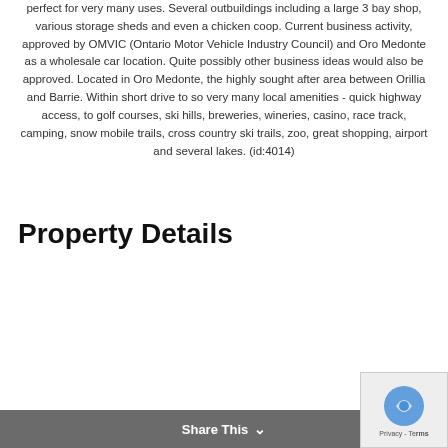perfect for very many uses. Several outbuildings including a large 3 bay shop, various storage sheds and even a chicken coop. Current business activity, approved by OMVIC (Ontario Motor Vehicle Industry Council) and Oro Medonte as a wholesale car location. Quite possibly other business ideas would also be approved. Located in Oro Medonte, the highly sought after area between Orillia and Barrie. Within short drive to so very many local amenities - quick highway access, to golf courses, ski hills, breweries, wineries, casino, race track, camping, snow mobile trails, cross country ski trails, zoo, great shopping, airport and several lakes. (id:4014)
Property Details
| Field | Value |
| --- | --- |
| MLS® Number | 40269170 |
| Property Type | Single Family |
| Amenities Near By | Golf Nearby, S… |
Share This